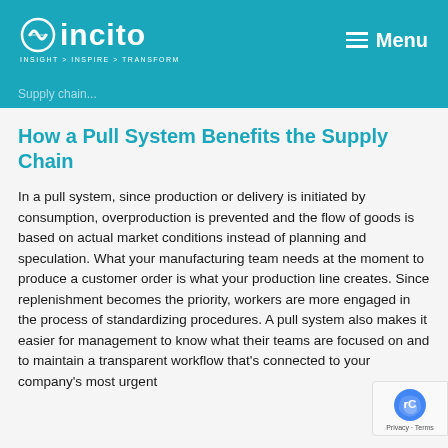Incito — INSIGHT > INSPIRE > TRANSFORM | Menu
Supply chain...
How a Pull System Benefits the Supply Chain
In a pull system, since production or delivery is initiated by consumption, overproduction is prevented and the flow of goods is based on actual market conditions instead of planning and speculation. What your manufacturing team needs at the moment to produce a customer order is what your production line creates. Since replenishment becomes the priority, workers are more engaged in the process of standardizing procedures. A pull system also makes it easier for management to know what their teams are focused on and to maintain a transparent workflow that's connected to your company's most urgent